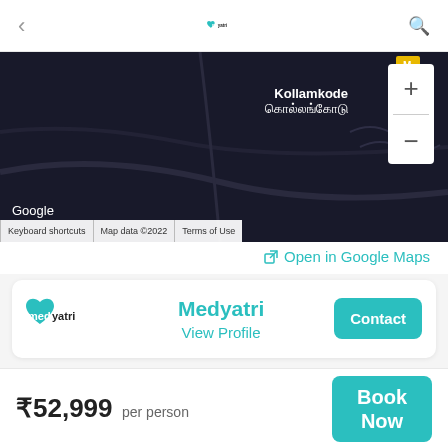medyatri
[Figure (map): Google Maps dark satellite view showing Kollamkode / கொல்லங்கோடு area with zoom controls and map footer]
Open in Google Maps
Medyatri
View Profile
Contact
₹52,999 per person
Book Now